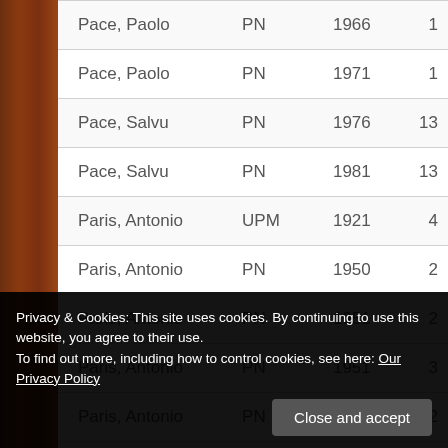| Name | Party | Year | Count |
| --- | --- | --- | --- |
| Pace, Paolo | PN | 1966 | 1 |
| Pace, Paolo | PN | 1971 | 1 |
| Pace, Salvu | PN | 1976 | 13 |
| Pace, Salvu | PN | 1981 | 13 |
| Paris, Antonio | UPM | 1921 | 4 |
| Paris, Antonio | PN | 1950 | 2 |
| Paris, Antonio | PN | 1951 | 2 |
| Paris, Antonio | PN | 1951 | 3 |
| Paris, Antonio | PN | 1953 | 2 |
Privacy & Cookies: This site uses cookies. By continuing to use this website, you agree to their use.
To find out more, including how to control cookies, see here: Our Privacy Policy